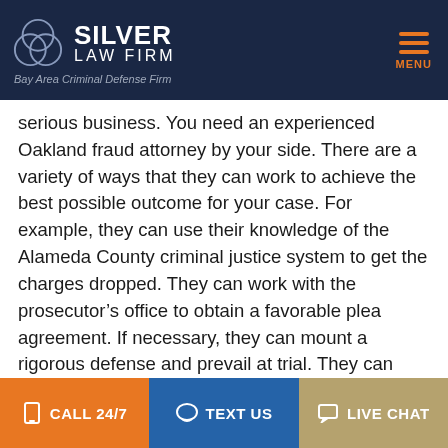SILVER LAW FIRM — Bay Area Criminal Defense Firm
serious business. You need an experienced Oakland fraud attorney by your side. There are a variety of ways that they can work to achieve the best possible outcome for your case. For example, they can use their knowledge of the Alameda County criminal justice system to get the charges dropped. They can work with the prosecutor's office to obtain a favorable plea agreement. If necessary, they can mount a rigorous defense and prevail at trial. They can convince a judge that you deserve probation in lieu of prison time. Without an Alameda County fraud attorney, you are at the mercy of the District Attorney's office. With an
CALL 24/7   TEXT US   LIVE CHAT